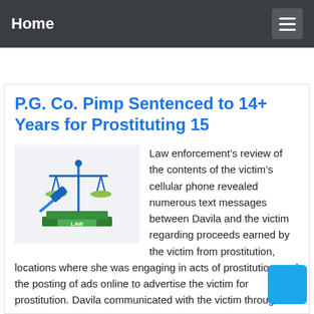Home
P.G. Co. Pimp Sentenced to 14+ Years for Prostituting 15
[Figure (illustration): Legal illustration showing a balance scale and a gavel on a stack of law books, with the word LAW on the books, in blue and green colors.]
Law enforcement’s review of the contents of the victim’s cellular phone revealed numerous text messages between Davila and the victim regarding proceeds earned by the victim from prostitution, locations where she was engaging in acts of prostitution, and the posting of ads online to advertise the victim for prostitution. Davila communicated with the victim through the …